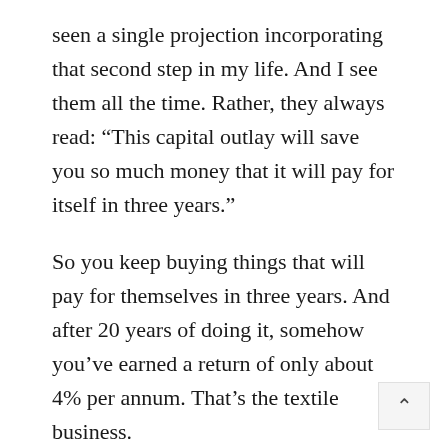seen a single projection incorporating that second step in my life. And I see them all the time. Rather, they always read: “This capital outlay will save you so much money that it will pay for itself in three years.”
So you keep buying things that will pay for themselves in three years. And after 20 years of doing it, somehow you’ve earned a return of only about 4% per annum. That’s the textile business.
And it isn’t that the machines weren’t better. It’s just that the savings didn’t go